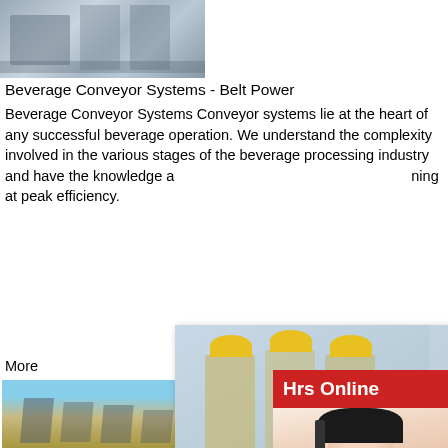[Figure (photo): Industrial conveyor system photo, grayscale/blue tones, machinery and silos visible]
Beverage Conveyor Systems - Belt Power
Beverage Conveyor Systems Conveyor systems lie at the heart of any successful beverage operation. We understand the complexity involved in the various stages of the beverage processing industry and have the knowledge a [partially obscured] ning at peak efficiency.
More
[Figure (photo): Used belt driven conveyor systems photo, outdoor industrial setting with sandy ground]
Many More Used Belt Driven Conveyors For Sale at ...
Belt Driven Conveyor Systems Components additional belt driven conveyor systems a
[Figure (other): Live chat popup with workers in hard hats, LIVE CHAT text in red italic, Click for a Free Consultation, Chat now and Chat later buttons]
[Figure (other): Right side chat widget showing female agent with headset, Hrs Online banner, Need questions & suggestion box with Chat Now button and Enquire bar]